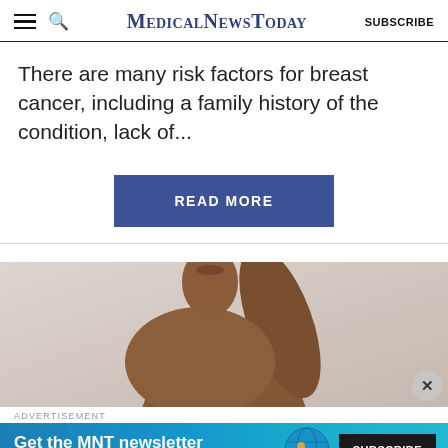MedicalNewsToday  SUBSCRIBE
There are many risk factors for breast cancer, including a family history of the condition, lack of...
READ MORE
[Figure (photo): Close-up photograph of a person's torso and arm against a light gray background, showing bare skin]
ADVERTISEMENT
Get the MNT newsletter
Subscribe to receive our top news articles.
SUBSCRIBE